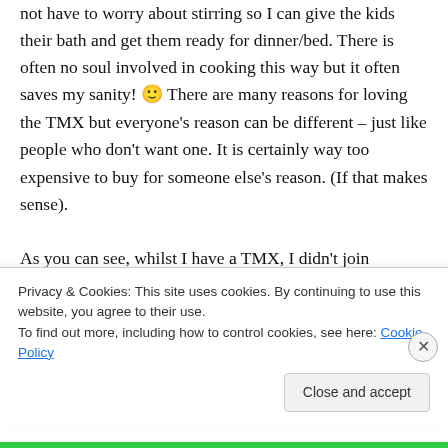not have to worry about stirring so I can give the kids their bath and get them ready for dinner/bed. There is often no soul involved in cooking this way but it often saves my sanity! 🙂 There are many reasons for loving the TMX but everyone's reason can be different – just like people who don't want one. It is certainly way too expensive to buy for someone else's reason. (If that makes sense).

As you can see, whilst I have a TMX, I didn't join
Privacy & Cookies: This site uses cookies. By continuing to use this website, you agree to their use.
To find out more, including how to control cookies, see here: Cookie Policy